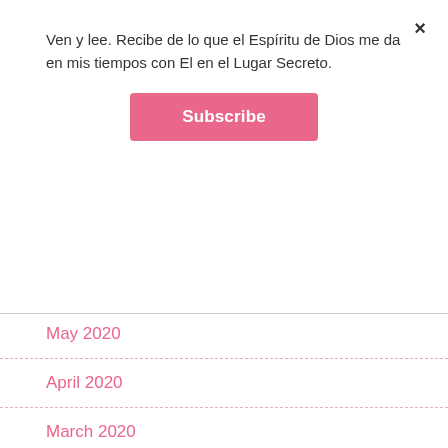×
Ven y lee. Recibe de lo que el Espíritu de Dios me da en mis tiempos con El en el Lugar Secreto.
Subscribe
May 2020
April 2020
March 2020
October 2019
January 2019
August 2018
July 2018